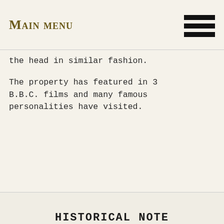Main menu
the head in similar fashion.
The property has featured in 3 B.B.C. films and many famous personalities have visited.
HISTORICAL NOTE
Strings in the earth and air make music sweet;
Strings by the river where the willows meet.
There's music along the river for Love wanders there,
Pale flowers on his mantle, dark leaves on his hair.
All softly playing, with head to the music bent,